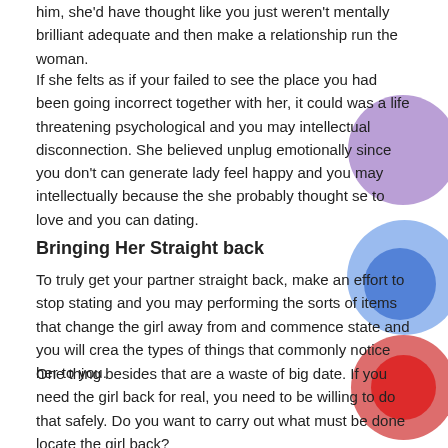him, she'd have thought like you just weren't mentally brilliant adequate and then make a relationship run the woman.
If she felts as if your failed to see the place you had been going incorrect together with her, it could was a life threatening psychological and you may intellectual disconnection. She believed unplug emotionally since you don't can generate lady feel happy and you may intellectually because the she probably thought se to love and you can dating.
Bringing Her Straight back
To truly get your partner straight back, make an effort to stop stating and you may performing the sorts of items that change the girl away from and commence state and you will create the types of things that commonly notice her to you.
One thing besides that are a waste of big date. If you need the girl back for real, you need to be willing to do that safely. Do you want to carry out what must be done locate the girl back?